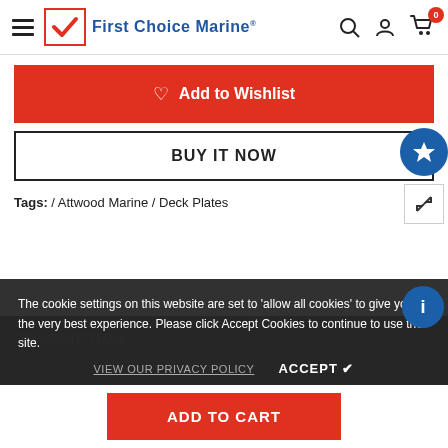First Choice Marine
Add to Wishlist
BUY IT NOW
Tags: / Attwood Marine / Deck Plates
The cookie settings on this website are set to 'allow all cookies' to give you the very best experience. Please click Accept Cookies to continue to use the site.
VIEW OUR PRIVACY POLICY   ACCEPT ✔
DESCRIPTION
Attwood Marine 12792-1 Deck Plates
ADD TO CART